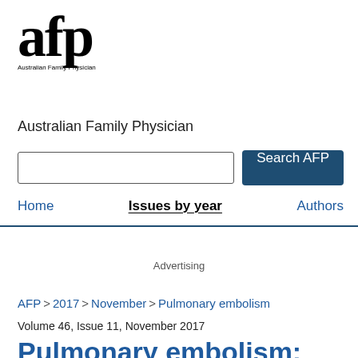[Figure (logo): AFP (Australian Family Physician) journal logo with large bold 'afp' text and small subtitle]
Australian Family Physician
[Figure (other): Search input box and Search AFP button]
Home   Issues by year   Authors
Advertising
AFP > 2017 > November > Pulmonary embolism
Volume 46, Issue 11, November 2017
Pulmonary embolism: